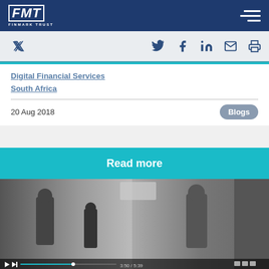FMT FINMARK TRUST
[Figure (infographic): Social sharing icons: Twitter, Facebook, LinkedIn, Email, Print]
Digital Financial Services
South Africa
20 Aug 2018
Blogs
Read more
[Figure (photo): Black and white video still showing people at an outdoor market or street scene, with video player controls at the bottom showing timestamp 3:50 / 5:39]